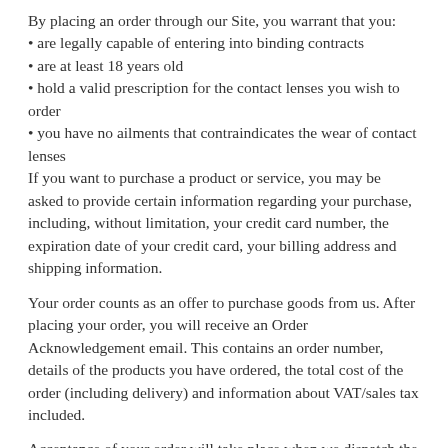By placing an order through our Site, you warrant that you:
• are legally capable of entering into binding contracts
• are at least 18 years old
• hold a valid prescription for the contact lenses you wish to order
• you have no ailments that contraindicates the wear of contact lenses
If you want to purchase a product or service, you may be asked to provide certain information regarding your purchase, including, without limitation, your credit card number, the expiration date of your credit card, your billing address and shipping information.
Your order counts as an offer to purchase goods from us. After placing your order, you will receive an Order Acknowledgement email. This contains an order number, details of the products you have ordered, the total cost of the order (including delivery) and information about VAT/sales tax included.
Acceptance of your order will take place when we dispatch the product(s) to you. Until we dispatch the product(s), no contract will have been formed between us.
Reasons for not accepting your order, includes, but are not